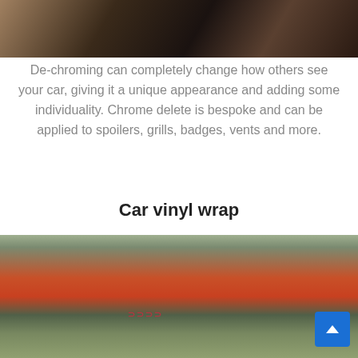[Figure (photo): Close-up photo of a dark car exterior, showing chrome or body trim area]
De-chroming can completely change how others see your car, giving it a unique appearance and adding some individuality. Chrome delete is bespoke and can be applied to spoilers, grills, badges, vents and more.
Car vinyl wrap
[Figure (photo): Outdoor photo of cars parked in a lot, with a red Audi in the foreground featuring an Audi logo on the windscreen, and residential buildings and trees in the background]